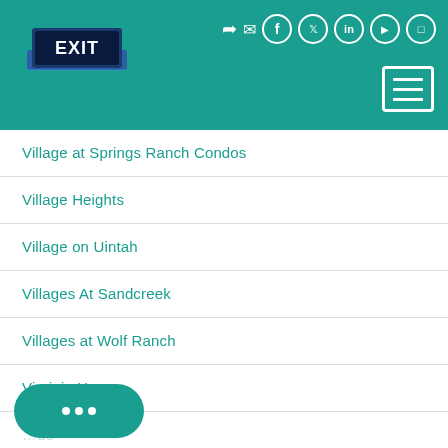[Figure (logo): EXIT Realty logo on teal header with social media icons and hamburger menu]
Village at Springs Ranch Condos
Village Heights
Village on Uintah
Villages At Sandcreek
Villages at Wolf Ranch
Virginia Homes
...ode
Vista Grande Estates